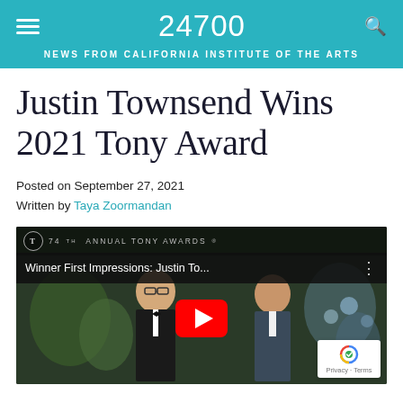24700 — NEWS FROM CALIFORNIA INSTITUTE OF THE ARTS
Justin Townsend Wins 2021 Tony Award
Posted on September 27, 2021
Written by Taya Zoormandan
[Figure (screenshot): YouTube video embed showing '74th Annual Tony Awards' video titled 'Winner First Impressions: Justin To...' with two men in tuxedos visible and a YouTube play button overlay. A reCAPTCHA Privacy - Terms badge appears in the bottom right corner.]